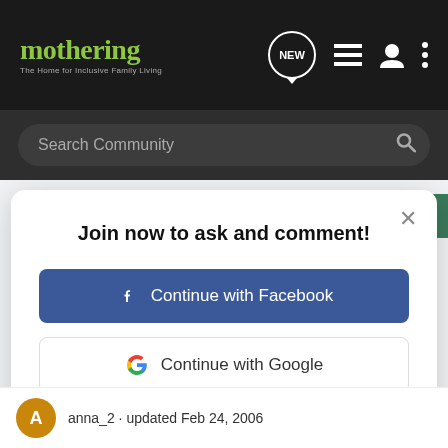mothering - The Home for Inclusive Family Living
Search Community
Join now to ask and comment!
Continue with Facebook
Continue with Google
or sign up with email
anna_2 · updated Feb 24, 2006